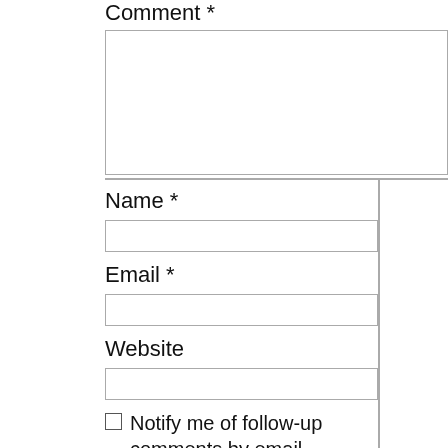Comment *
[Figure (screenshot): Empty comment text area input box]
Name *
[Figure (screenshot): Empty name text input box]
Email *
[Figure (screenshot): Empty email text input box]
Website
[Figure (screenshot): Empty website text input box]
Notify me of follow-up comments by email.
Notify me of new posts by email.